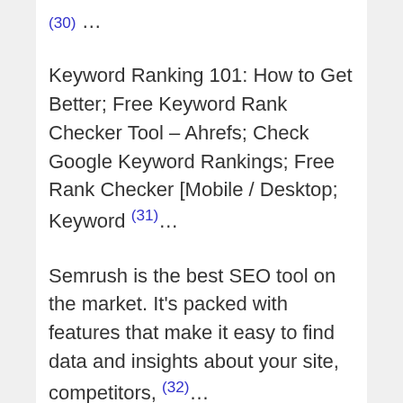(30) …
Keyword Ranking 101: How to Get Better; Free Keyword Rank Checker Tool – Ahrefs; Check Google Keyword Rankings; Free Rank Checker [Mobile / Desktop; Keyword (31)…
Semrush is the best SEO tool on the market. It's packed with features that make it easy to find data and insights about your site, competitors, (32)…
SeoSamba Marketing Operating System keyword search ranking checker